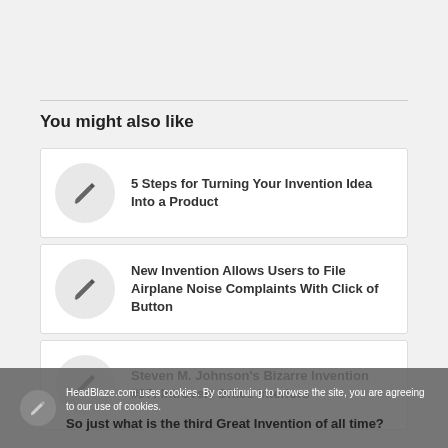You might also like
5 Steps for Turning Your Invention Idea Into a Product
New Invention Allows Users to File Airplane Noise Complaints With Click of Button
Steven M. Johnson's Bizarre Invention #97: Introvert Office Interiors
So just what is the third Great Invention of all time?
HeadBlaze.com uses cookies. By continuing to browse the site, you are agreeing to our use of cookies.